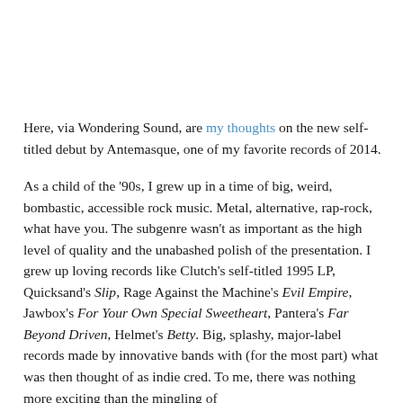Here, via Wondering Sound, are my thoughts on the new self-titled debut by Antemasque, one of my favorite records of 2014.
As a child of the '90s, I grew up in a time of big, weird, bombastic, accessible rock music. Metal, alternative, rap-rock, what have you. The subgenre wasn't as important as the high level of quality and the unabashed polish of the presentation. I grew up loving records like Clutch's self-titled 1995 LP, Quicksand's Slip, Rage Against the Machine's Evil Empire, Jawbox's For Your Own Special Sweetheart, Pantera's Far Beyond Driven, Helmet's Betty. Big, splashy, major-label records made by innovative bands with (for the most part) what was then thought of as indie cred. To me, there was nothing more exciting than the mingling of